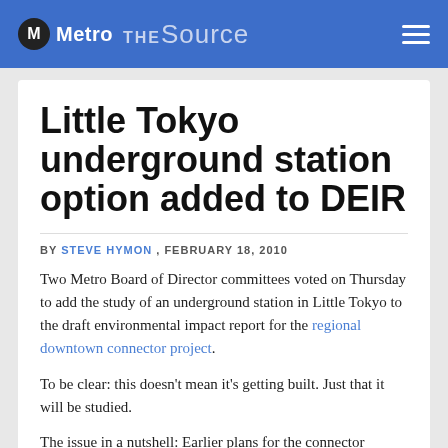Metro THE Source
Little Tokyo underground station option added to DEIR
BY STEVE HYMON , FEBRUARY 18, 2010
Two Metro Board of Director committees voted on Thursday to add the study of an underground station in Little Tokyo to the draft environmental impact report for the regional downtown connector project.
To be clear: this doesn't mean it's getting built. Just that it will be studied.
The issue in a nutshell: Earlier plans for the connector